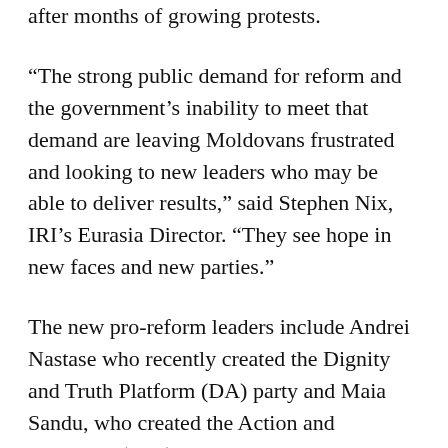after months of growing protests.
“The strong public demand for reform and the government’s inability to meet that demand are leaving Moldovans frustrated and looking to new leaders who may be able to deliver results,” said Stephen Nix, IRI’s Eurasia Director. “They see hope in new faces and new parties.”
The new pro-reform leaders include Andrei Nastase who recently created the Dignity and Truth Platform (DA) party and Maia Sandu, who created the Action and Solidarity (PAS) party. According to the poll, both parties already have 12 percent public support. While that support is substantially less than two of the longer-established parties, it is significant because of